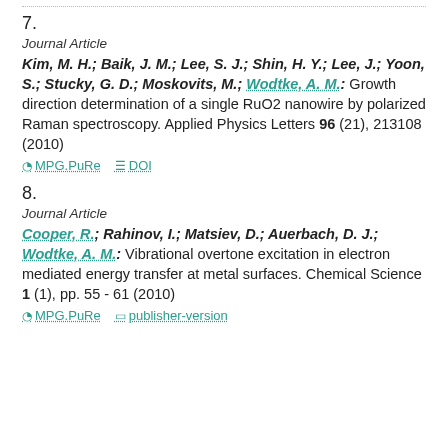7.
Journal Article
Kim, M. H.; Baik, J. M.; Lee, S. J.; Shin, H. Y.; Lee, J.; Yoon, S.; Stucky, G. D.; Moskovits, M.; Wodtke, A. M.: Growth direction determination of a single RuO2 nanowire by polarized Raman spectroscopy. Applied Physics Letters 96 (21), 213108 (2010)
MPG.PuRe   DOI
8.
Journal Article
Cooper, R.; Rahinov, I.; Matsiev, D.; Auerbach, D. J.; Wodtke, A. M.: Vibrational overtone excitation in electron mediated energy transfer at metal surfaces. Chemical Science 1 (1), pp. 55 - 61 (2010)
MPG.PuRe   publisher-version